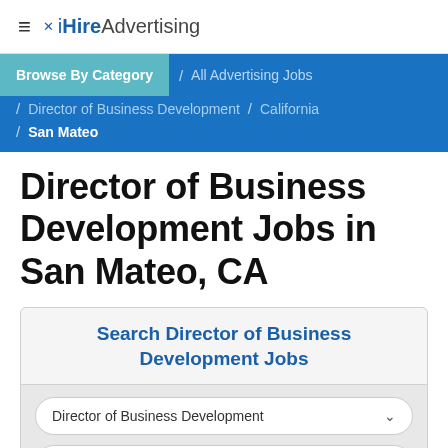iHireAdvertising
Browse By Category / All Advertising Jobs / Director of Business Development / California / San Mateo
Director of Business Development Jobs in San Mateo, CA
Search Director of Business Development Jobs
Director of Business Development
San Mateo, CA